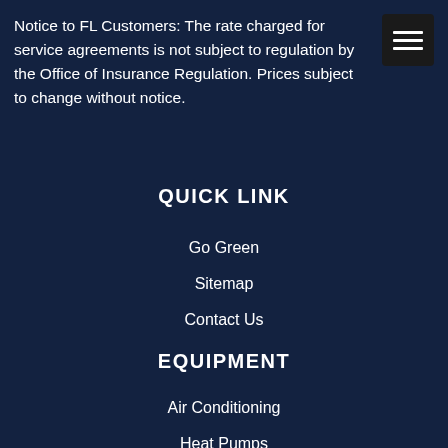Notice to FL Customers: The rate charged for service agreements is not subject to regulation by the Office of Insurance Regulation. Prices subject to change without notice.
[Figure (other): Hamburger menu icon — three horizontal white lines on a dark/black square background]
QUICK LINK
Go Green
Sitemap
Contact Us
EQUIPMENT
Air Conditioning
Heat Pumps
Indoor Air Quality
Water Heaters